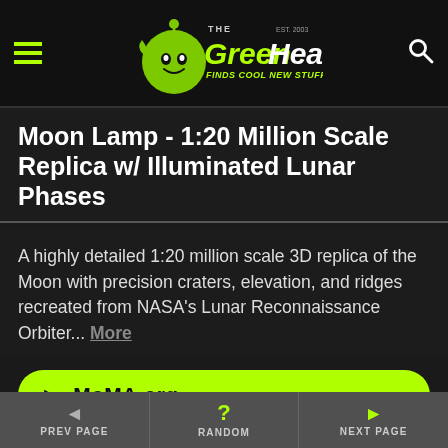[Figure (logo): The Green Head website logo — stylized green alien head with 'The Green Head' text and tagline 'Finds Cool New Stuff!']
Moon Lamp - 1:20 Million Scale Replica w/ Illuminated Lunar Phases
A highly detailed 1:20 million scale 3D replica of the Moon with precision craters, elevation, and ridges recreated from NASA's Lunar Reconnaissance Orbiter... More
► MoMA.org
[Figure (photo): Partial photo of the moon lamp product, showing a dark triangular/rooftop shape emerging from a white background]
◄ PREV PAGE  ? RANDOM  ► NEXT PAGE